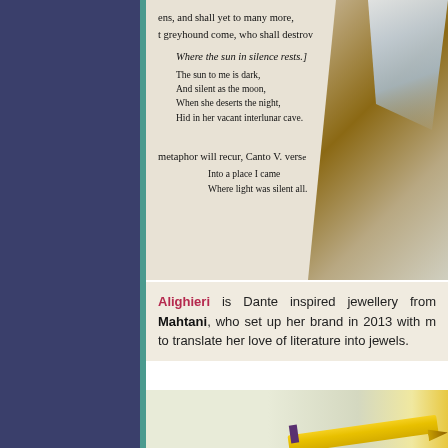[Figure (photo): Photo of an open book with literary text visible, alongside wood/bark and crystal objects on the right side. The book shows verses and prose including Milton quotations and Dante references.]
Alighieri is Dante inspired jewellery from Mahtani, who set up her brand in 2013 with m to translate her love of literature into jewels.
[Figure (photo): Partial photo showing art/craft materials including a yellow pencil on a light green/cream background.]